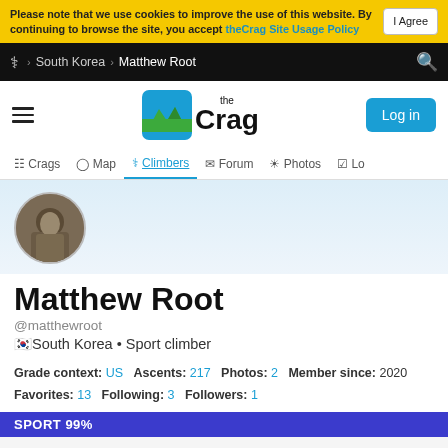Please note that we use cookies to improve the use of this website. By continuing to browse the site, you accept theCrag Site Usage Policy  I Agree
South Korea > Matthew Root
[Figure (logo): theCrag logo with mountain icon]
Crags  Map  Climbers  Forum  Photos  Log
[Figure (photo): Circular avatar photo of Matthew Root showing a rock face or climbing image]
Matthew Root
@matthewroot
South Korea • Sport climber
Grade context: US  Ascents: 217  Photos: 2  Member since: 2020  Favorites: 13  Following: 3  Followers: 1
SPORT 99%